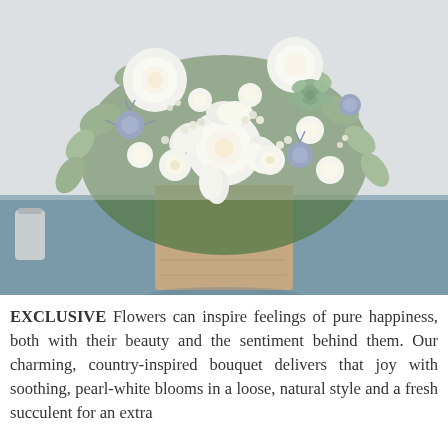[Figure (photo): A floral bouquet arrangement featuring white roses, white chrysanthemums, blue thistle, small white wax flowers, green succulents, and eucalyptus leaves, arranged in a rustic square wooden box vase. The arrangement is sitting on a blue-grey surface with a light background.]
EXCLUSIVE Flowers can inspire feelings of pure happiness, both with their beauty and the sentiment behind them. Our charming, country-inspired bouquet delivers that joy with soothing, pearl-white blooms in a loose, natural style and a fresh succulent for an extra